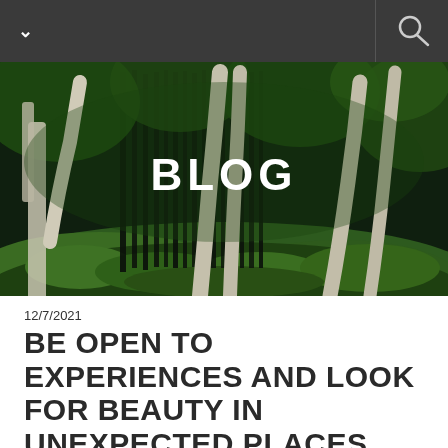Navigation bar with chevron and search icons
[Figure (photo): Lush green forest with moss-covered ground and bare white tree trunks, dark atmospheric forest scene. 'BLOG' text overlaid in white bold capital letters at center.]
12/7/2021
BE OPEN TO EXPERIENCES AND LOOK FOR BEAUTY IN UNEXPECTED PLACES